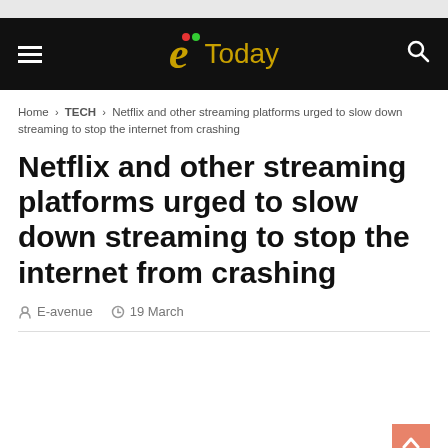E-avenue Today — navigation header with hamburger menu, logo, and search icon
Home > TECH > Netflix and other streaming platforms urged to slow down streaming to stop the internet from crashing
Netflix and other streaming platforms urged to slow down streaming to stop the internet from crashing
E-avenue   19 March